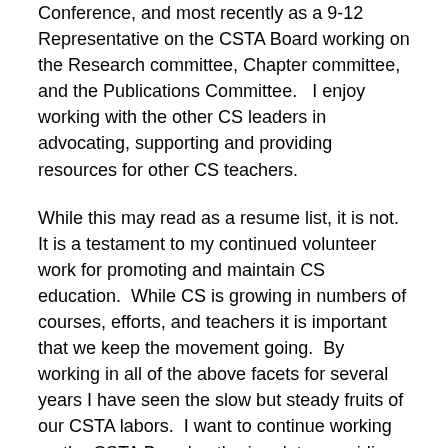Conference, and most recently as a 9-12 Representative on the CSTA Board working on the Research committee, Chapter committee, and the Publications Committee.   I enjoy working with the other CS leaders in advocating, supporting and providing resources for other CS teachers.
While this may read as a resume list, it is not.  It is a testament to my continued volunteer work for promoting and maintain CS education.  While CS is growing in numbers of courses, efforts, and teachers it is important that we keep the movement going.  By working in all of the above facets for several years I have seen the slow but steady fruits of our CSTA labors.  I want to continue working on the CSTA Board gathering data, providing resources, and working for you.
Members should take time to consider who to vote for and I encourage you to view our statements on the CSTA election page.  From my statements you should see that I am passionate about CS, a hard worker, and I have contributed as much as possible to supporting CS Education.  Please vote and allow me to continue working